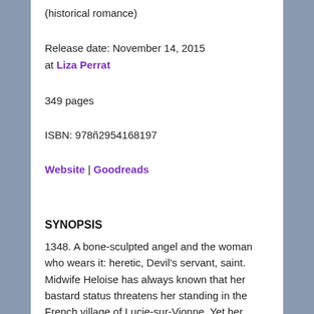(historical romance)
Release date: November 14, 2015
at Liza Perrat
349 pages
ISBN: 978ñ2954168197
Website | Goodreads
SYNOPSIS
1348. A bone-sculpted angel and the woman who wears it: heretic, Devil's servant, saint.
Midwife Heloise has always known that her bastard status threatens her standing in the French village of Lucie-sur-Vionne. Yet her midwifery and healing skills have gained the people's respect, and she has won the heart of the handsome Raoul Stonemason. The future looks hopeful.